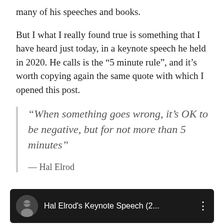many of his speeches and books.
But I what I really found true is something that I have heard just today, in a keynote speech he held in 2020. He calls is the “5 minute rule”, and it’s worth copying again the same quote with which I opened this post.
“When something goes wrong, it’s OK to be negative, but for not more than 5 minutes”
— Hal Elrod
[Figure (screenshot): Video thumbnail showing Hal Elrod's Keynote Speech (2... with a circular avatar photo and a three-dot menu icon on dark background.]